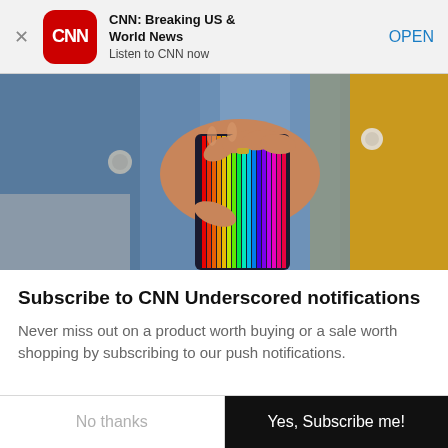[Figure (screenshot): App store banner for CNN: Breaking US & World News with CNN logo, app title, subtitle 'Listen to CNN now', and OPEN button]
[Figure (photo): Close-up photo of a person's hand holding a colorful rainbow-striped phone case, wearing a denim jacket and yellow top]
Subscribe to CNN Underscored notifications
Never miss out on a product worth buying or a sale worth shopping by subscribing to our push notifications.
No thanks
Yes, Subscribe me!